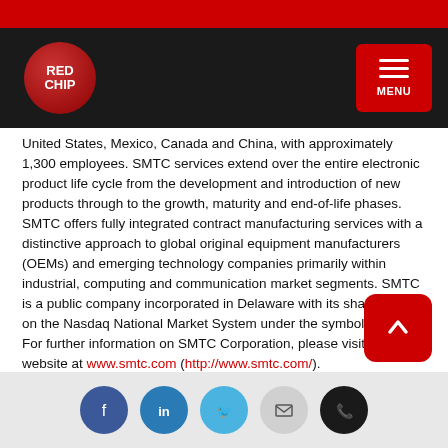RedChip - REDCHIP logo and navigation menu
United States, Mexico, Canada and China, with approximately 1,300 employees. SMTC services extend over the entire electronic product life cycle from the development and introduction of new products through to the growth, maturity and end-of-life phases. SMTC offers fully integrated contract manufacturing services with a distinctive approach to global original equipment manufacturers (OEMs) and emerging technology companies primarily within industrial, computing and communication market segments. SMTC is a public company incorporated in Delaware with its shares traded on the Nasdaq National Market System under the symbol SMTX. For further information on SMTC Corporation, please visit our website at www.smtc.com (http://www.smtc.com/).
The SMTC Corporation logo is available at http://www.globenewswire.com/newsroom/prs/?pkgid=9800